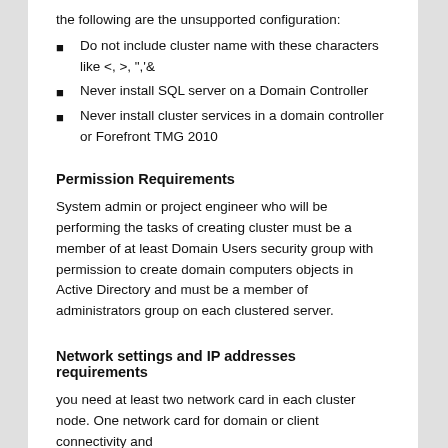the following are the unsupported configuration:
Do not include cluster name with these characters like <, >, ".',&
Never install SQL server on a Domain Controller
Never install cluster services in a domain controller or Forefront TMG 2010
Permission Requirements
System admin or project engineer who will be performing the tasks of creating cluster must be a member of at least Domain Users security group with permission to create domain computers objects in Active Directory and must be a member of administrators group on each clustered server.
Network settings and IP addresses requirements
you need at least two network card in each cluster node. One network card for domain or client connectivity and